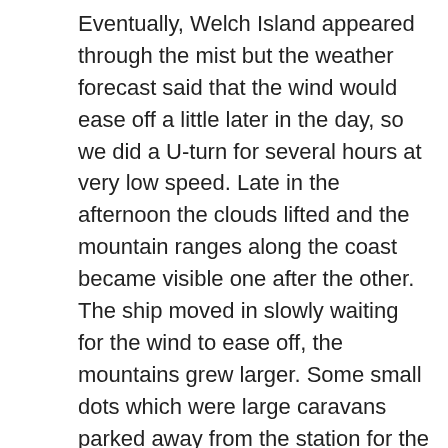Eventually, Welch Island appeared through the mist but the weather forecast said that the wind would ease off a little later in the day, so we did a U-turn for several hours at very low speed. Late in the afternoon the clouds lifted and the mountain ranges along the coast became visible one after the other. The ship moved in slowly waiting for the wind to ease off, the mountains grew larger. Some small dots which were large caravans parked away from the station for the summer were seen on the ice below the Masson Range, then directly below these the radio masts of the station appeared and building silhouetted against the white of the plateau.

Contact with Mawson had been made regularly to receive the weather predictions and current wind speeds so arrangements were made for the small